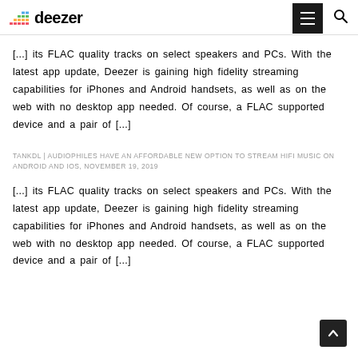deezer
[...] its FLAC quality tracks on select speakers and PCs. With the latest app update, Deezer is gaining high fidelity streaming capabilities for iPhones and Android handsets, as well as on the web with no desktop app needed. Of course, a FLAC supported device and a pair of [...]
TANKDL | AUDIOPHILES HAVE AN AFFORDABLE NEW OPTION TO STREAM HIFI MUSIC ON ANDROID AND IOS, NOVEMBER 19, 2019
[...] its FLAC quality tracks on select speakers and PCs. With the latest app update, Deezer is gaining high fidelity streaming capabilities for iPhones and Android handsets, as well as on the web with no desktop app needed. Of course, a FLAC supported device and a pair of [...]